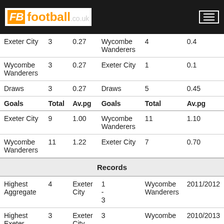FB football.co.uk
|  | Total | Av.pg |  | Total | Av.pg |
| --- | --- | --- | --- | --- | --- |
| Exeter City | 3 | 0.27 | Wycombe Wanderers | 4 | 0.4 |
| Wycombe Wanderers | 3 | 0.27 | Exeter City | 1 | 0.1 |
| Draws | 3 | 0.27 | Draws | 5 | 0.45 |
| Goals (header) | Total | Av.pg | Goals (header) | Total | Av.pg |
| Exeter City | 9 | 1.00 | Wycombe Wanderers | 11 | 1.10 |
| Wycombe Wanderers | 11 | 1.22 | Exeter City | 7 | 0.70 |
| Records |  |  |  |  |  |
| Highest Aggregate | 4 | Exeter City | 1 - 3 | Wycombe Wanderers | 2011/2012 |
| Highest Exeter... | 3 | Exeter City | 3 | Wycombe... | 2010/2013 |